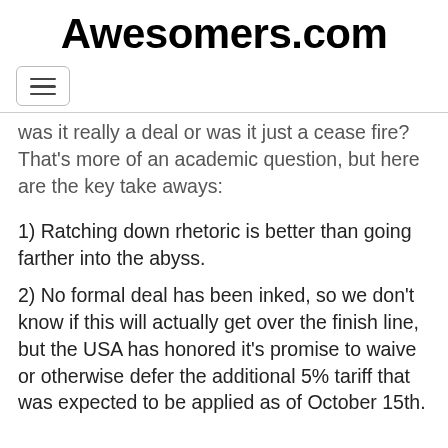Awesomers.com
[Figure (other): Hamburger menu button icon]
Was it really a deal or was it just a cease fire? That's more of an academic question, but here are the key take aways:
1) Ratching down rhetoric is better than going farther into the abyss.
2) No formal deal has been inked, so we don't know if this will actually get over the finish line, but the USA has honored it's promise to waive or otherwise defer the additional 5% tariff that was expected to be applied as of October 15th.